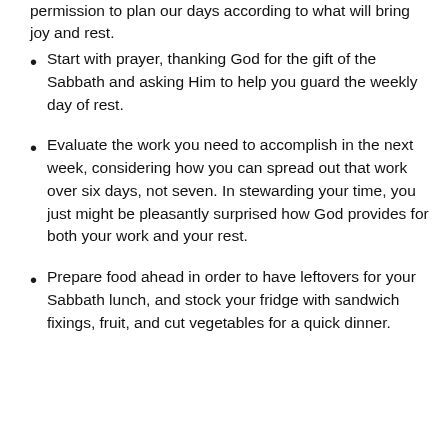permission to plan our days according to what will bring joy and rest.
Start with prayer, thanking God for the gift of the Sabbath and asking Him to help you guard the weekly day of rest.
Evaluate the work you need to accomplish in the next week, considering how you can spread out that work over six days, not seven. In stewarding your time, you just might be pleasantly surprised how God provides for both your work and your rest.
Prepare food ahead in order to have leftovers for your Sabbath lunch, and stock your fridge with sandwich fixings, fruit, and cut vegetables for a quick dinner.